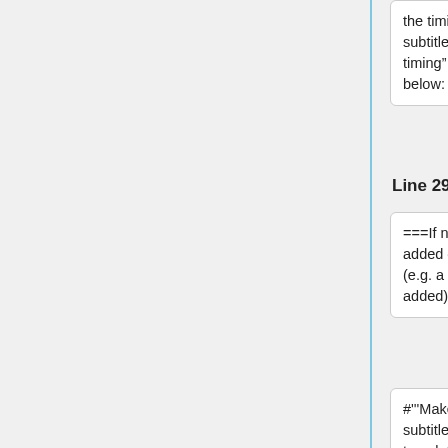the timing of the translated subtitles while using the “Copy timing” feature, follow the steps below:
the timing of the translated subtitles while using the “Copy timing” feature, follow the steps below:
Line 29:
Line 29:
===If no speech has been added or removed in the re-edit (e.g. a music intro was added)===
===If no speech has been added or removed in the re-edit (e.g. a music intro was added)===
#""Make sure that the number of subtitles in the transcript and the translation is identical.""<br />To easily check
#""Make sure that the number of subtitles in the transcript and the translation is identical.""<br />To easily check